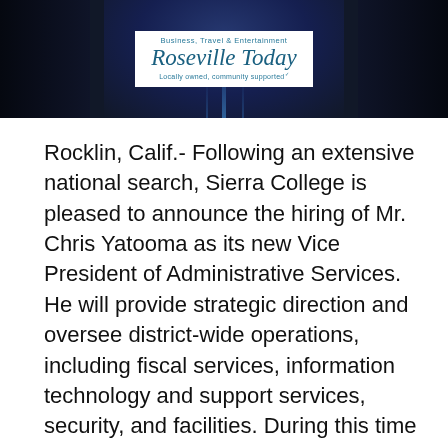[Figure (logo): Roseville Today logo — Business, Travel & Entertainment newspaper masthead on dark blue background with white logo box. Text: 'Business, Travel & Entertainment', 'Roseville Today', 'Locally owned, community supported']
Rocklin, Calif.- Following an extensive national search, Sierra College is pleased to announce the hiring of Mr. Chris Yatooma as its new Vice President of Administrative Services. He will provide strategic direction and oversee district-wide operations, including fiscal services, information technology and support services, security, and facilities. During this time of fiscal challenges, his extensive background in finance makes him uniquely suited to guide the district.